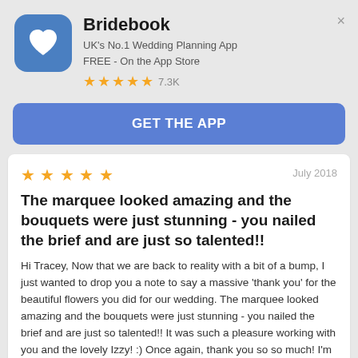[Figure (logo): Bridebook app icon - blue rounded square with white heart/book logo]
Bridebook
UK's No.1 Wedding Planning App
FREE - On the App Store
★★★★★ 7.3K
× (close button)
GET THE APP
★★★★★ July 2018
The marquee looked amazing and the bouquets were just stunning - you nailed the brief and are just so talented!!
Hi Tracey, Now that we are back to reality with a bit of a bump, I just wanted to drop you a note to say a massive 'thank you' for the beautiful flowers you did for our wedding. The marquee looked amazing and the bouquets were just stunning - you nailed the brief and are just so talented!! It was such a pleasure working with you and the lovely Izzy! :) Once again, thank you so so much! I'm now looking for an excuse to order loads more of your beautiful floral arrangements! :) Liz & James xx